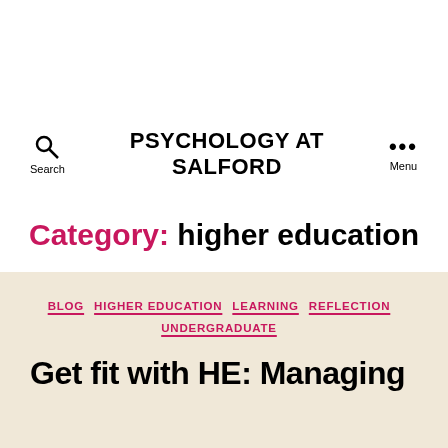PSYCHOLOGY AT SALFORD
Category: higher education
BLOG
HIGHER EDUCATION
LEARNING
REFLECTION
UNDERGRADUATE
Get fit with HE: Managing